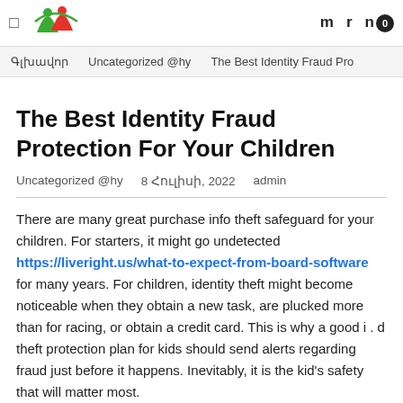☐  m  r  n 0
Գլխավոր   Uncategorized @hy   The Best Identity Fraud Pro
The Best Identity Fraud Protection For Your Children
Uncategorized @hy   8 Հուլիսի, 2022   admin
There are many great purchase info theft safeguard for your children. For starters, it might go undetected https://liveright.us/what-to-expect-from-board-software for many years. For children, identity theft might become noticeable when they obtain a new task, are plucked more than for racing, or obtain a credit card. This is why a good i . d theft protection plan for kids should send alerts regarding fraud just before it happens. Inevitably, it is the kid's safety that will matter most.